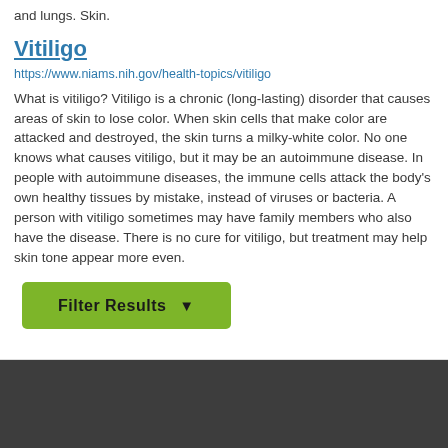and lungs. Skin.
Vitiligo
https://www.niams.nih.gov/health-topics/vitiligo
What is vitiligo? Vitiligo is a chronic (long-lasting) disorder that causes areas of skin to lose color. When skin cells that make color are attacked and destroyed, the skin turns a milky-white color. No one knows what causes vitiligo, but it may be an autoimmune disease. In people with autoimmune diseases, the immune cells attack the body's own healthy tissues by mistake, instead of viruses or bacteria. A person with vitiligo sometimes may have family members who also have the disease. There is no cure for vitiligo, but treatment may help skin tone appear more even.
[Figure (other): Green 'Filter Results' button with funnel icon]